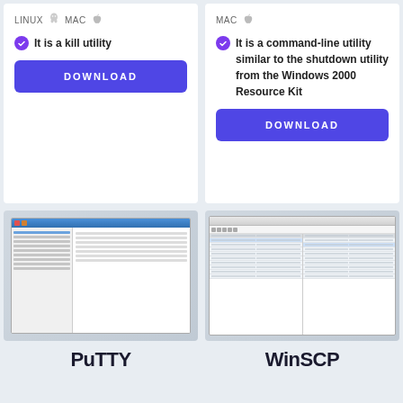LINUX  MAC
It is a kill utility
[Figure (screenshot): DOWNLOAD button (blue/indigo)]
MAC
It is a command-line utility similar to the shutdown utility from the Windows 2000 Resource Kit
[Figure (screenshot): DOWNLOAD button (blue/indigo)]
[Figure (screenshot): PuTTY configuration window screenshot]
PuTTY
[Figure (screenshot): WinSCP file transfer window screenshot]
WinSCP